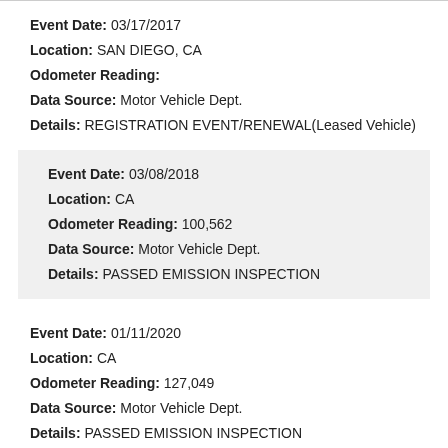Event Date: 03/17/2017
Location: SAN DIEGO, CA
Odometer Reading:
Data Source: Motor Vehicle Dept.
Details: REGISTRATION EVENT/RENEWAL(Leased Vehicle)
Event Date: 03/08/2018
Location: CA
Odometer Reading: 100,562
Data Source: Motor Vehicle Dept.
Details: PASSED EMISSION INSPECTION
Event Date: 01/11/2020
Location: CA
Odometer Reading: 127,049
Data Source: Motor Vehicle Dept.
Details: PASSED EMISSION INSPECTION
Event Date: 11/17/2020
Location: SAN DIEGO, CA
Odometer Reading: 138,378